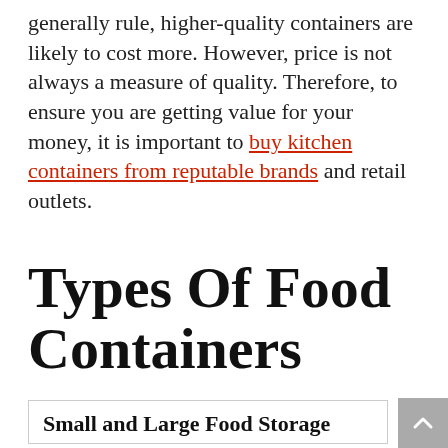generally rule, higher-quality containers are likely to cost more. However, price is not always a measure of quality. Therefore, to ensure you are getting value for your money, it is important to buy kitchen containers from reputable brands and retail outlets.
Types Of Food Containers
Small and Large Food Storage